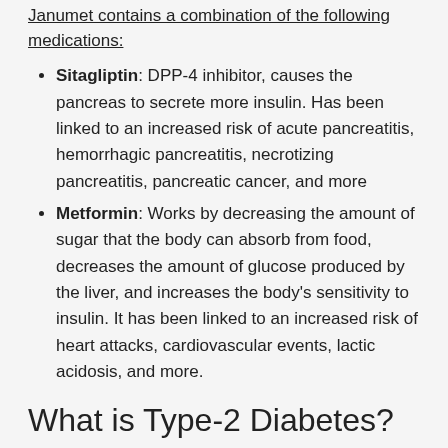Janumet contains a combination of the following medications:
Sitagliptin: DPP-4 inhibitor, causes the pancreas to secrete more insulin. Has been linked to an increased risk of acute pancreatitis, hemorrhagic pancreatitis, necrotizing pancreatitis, pancreatic cancer, and more
Metformin: Works by decreasing the amount of sugar that the body can absorb from food, decreases the amount of glucose produced by the liver, and increases the body's sensitivity to insulin. It has been linked to an increased risk of heart attacks, cardiovascular events, lactic acidosis, and more.
What is Type-2 Diabetes?
Type-2 Diabetes is a chronic metabolic disorder...